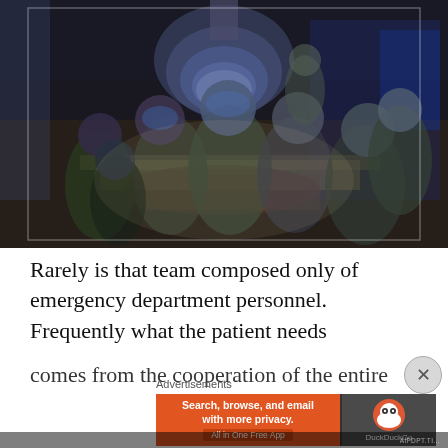[Figure (photo): Emergency room or operating room scene with multiple medical personnel in scrubs and surgical caps crowded around a patient on a table under a large surgical light. The image appears motion-blurred, suggesting urgency.]
Rarely is that team composed only of emergency department personnel. Frequently what the patient needs
Advertisements
[Figure (screenshot): DuckDuckGo advertisement banner with orange background on left side reading 'Search, browse, and email with more privacy. All in One Free App' and dark right side with DuckDuckGo logo and name.]